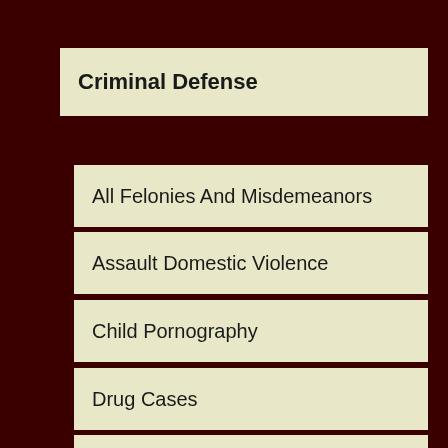Criminal Defense
All Felonies And Misdemeanors
Assault Domestic Violence
Child Pornography
Drug Cases
DWI/DUI
Early Termination Of Probation
Expungements & Nondisclosures